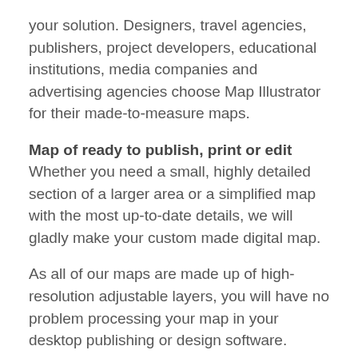your solution. Designers, travel agencies, publishers, project developers, educational institutions, media companies and advertising agencies choose Map Illustrator for their made-to-measure maps.
Map of ready to publish, print or edit
Whether you need a small, highly detailed section of a larger area or a simplified map with the most up-to-date details, we will gladly make your custom made digital map.
As all of our maps are made up of high-resolution adjustable layers, you will have no problem processing your map in your desktop publishing or design software.
Map design process
When designing an appealing and up-to-date map of Castle Rock, we consider your application, the purpose to be served and your target group. Which is why we ask that